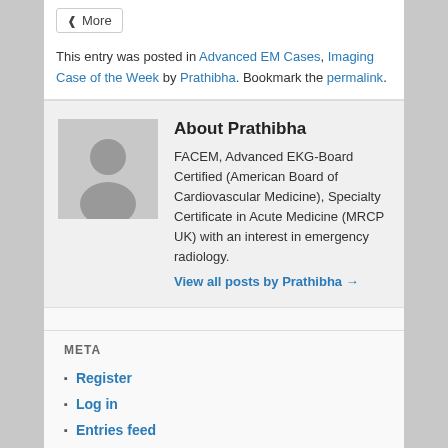[Figure (other): More share button with share icon]
This entry was posted in Advanced EM Cases, Imaging Case of the Week by Prathibha. Bookmark the permalink.
About Prathibha
[Figure (photo): Generic user avatar placeholder image in gray]
FACEM, Advanced EKG-Board Certified (American Board of Cardiovascular Medicine), Specialty Certificate in Acute Medicine (MRCP UK) with an interest in emergency radiology.
View all posts by Prathibha →
META
Register
Log in
Entries feed
Comments feed